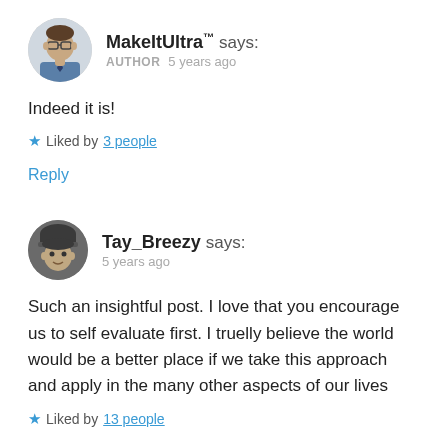[Figure (photo): Round avatar of MakeItUltra author, a man with glasses and a tie, in a circular crop]
MakeItUltra™ says: AUTHOR 5 years ago
Indeed it is!
★ Liked by 3 people
Reply
[Figure (photo): Round avatar of Tay_Breezy, a person wearing a dark beanie hat, in a circular crop]
Tay_Breezy says: 5 years ago
Such an insightful post. I love that you encourage us to self evaluate first. I truelly believe the world would be a better place if we take this approach and apply in the many other aspects of our lives
★ Liked by 13 people